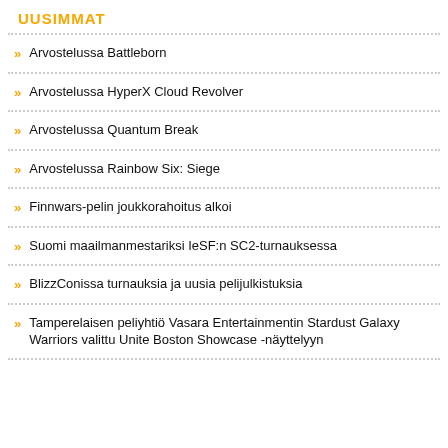UUSIMMAT
Arvostelussa Battleborn
Arvostelussa HyperX Cloud Revolver
Arvostelussa Quantum Break
Arvostelussa Rainbow Six: Siege
Finnwars-pelin joukkorahoitus alkoi
Suomi maailmanmestariksi IeSF:n SC2-turnauksessa
BlizzConissa turnauksia ja uusia pelijulkistuksia
Tamperelaisen peliyhtiö Vasara Entertainmentin Stardust Galaxy Warriors valittu Unite Boston Showcase -näyttelyyn